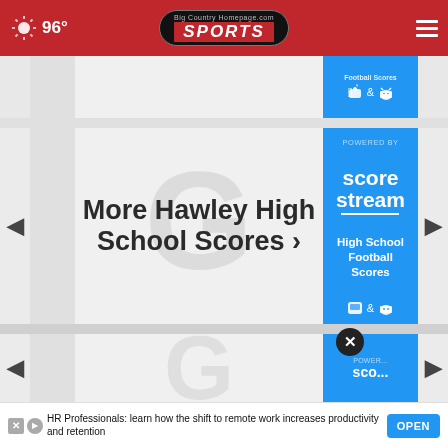96° Big Country Homepage.com SPORTS
[Figure (screenshot): Blue ad banner showing Football Scores with Apple and Android app icons]
More Hawley High School Scores ›
[Figure (logo): ScoreStream logo - Powered by score stream, High School Football Scores, Apple and Android icons]
[Figure (screenshot): Partial bottom card with blue ScoreStream ad panel and close button]
HR Professionals: learn how the shift to remote work increases productivity and retention
OPEN